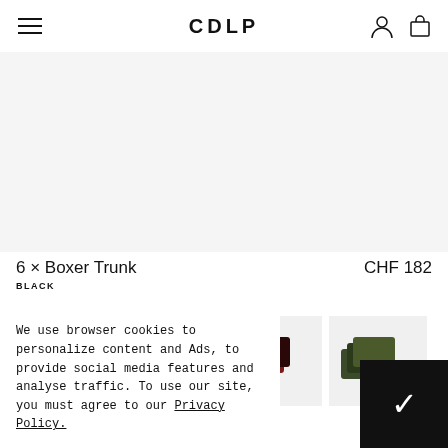CDLP
[Figure (photo): Large product image area showing boxer trunks, light gray background]
6 × Boxer Trunk   CHF 182
BLACK
[Figure (photo): Four thumbnail images of boxer trunk multipacks in different color combinations: mixed colors, black, burgundy/dark, and olive/dark green]
We use browser cookies to personalize content and Ads, to provide social media features and analyse traffic. To use our site, you must agree to our Privacy Policy.